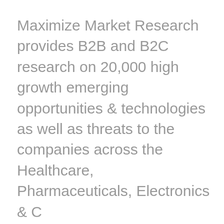Maximize Market Research provides B2B and B2C research on 20,000 high growth emerging opportunities & technologies as well as threats to the companies across the Healthcare, Pharmaceuticals, Electronics & C ommunications, Internet of Things, Food and Beverages, Aerospace and Defense and other manufacturing sectors.